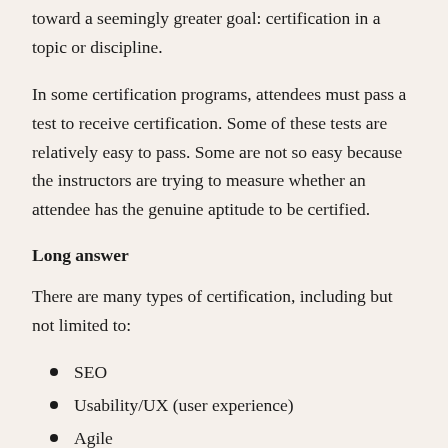toward a seemingly greater goal: certification in a topic or discipline.
In some certification programs, attendees must pass a test to receive certification. Some of these tests are relatively easy to pass. Some are not so easy because the instructors are trying to measure whether an attendee has the genuine aptitude to be certified.
Long answer
There are many types of certification, including but not limited to:
SEO
Usability/UX (user experience)
Agile
Instructional design (ID)